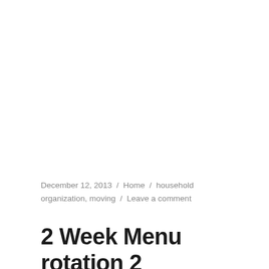December 12, 2013  /  Home  /  household organization, moving  /  Leave a comment
2 Week Menu rotation 2